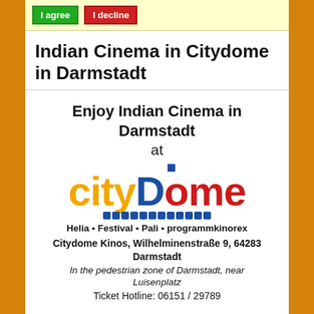[Figure (other): Cookie consent bar with 'I agree' (green button) and 'I decline' (red button)]
Indian Cinema in Citydome in Darmstadt
Enjoy Indian Cinema in Darmstadt
at
[Figure (logo): Citydome logo: 'city' in yellow/gold bold text, 'Dome' in red bold text with capital D in blue, blue dot above, row of blue squares below]
Helia • Festival • Pali • programmkinorex
Citydome Kinos, Wilhelminenstraße 9, 64283 Darmstadt
In the pedestrian zone of Darmstadt, near Luisenplatz
Ticket Hotline: 06151 / 29789